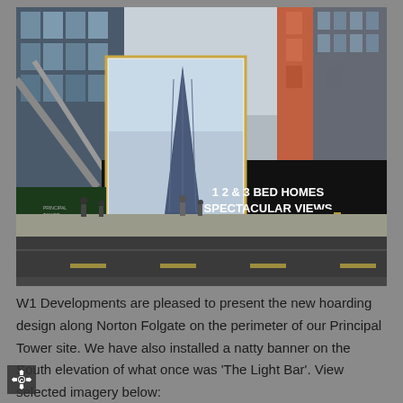[Figure (photo): Street-level photograph of Norton Folgate in London showing a construction hoarding for Principal Tower with a large billboard displaying an image of the tower and text reading '1 2 & 3 BED HOMES SPECTACULAR VIEWS 020 7087 5111', with modern glass office buildings in the background and a road in the foreground.]
W1 Developments are pleased to present the new hoarding design along Norton Folgate on the perimeter of our Principal Tower site. We have also installed a natty banner on the South elevation of what once was 'The Light Bar'. View selected imagery below: